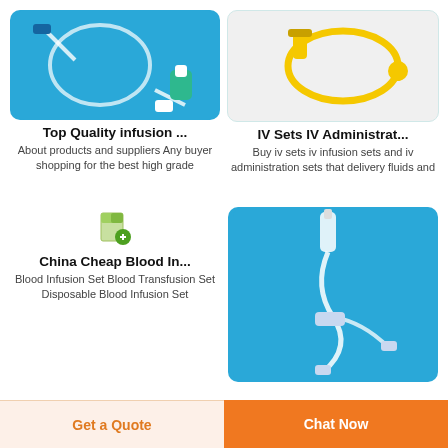[Figure (photo): Medical infusion set with blue tubing and green cap on blue background]
Top Quality infusion ...
About products and suppliers Any buyer shopping for the best high grade
[Figure (photo): IV infusion set with yellow tubing on white background]
IV Sets IV Administrat...
Buy iv sets iv infusion sets and iv administration sets that delivery fluids and
[Figure (photo): Small document/file icon placeholder image]
China Cheap Blood In...
Blood Infusion Set Blood Transfusion Set Disposable Blood Infusion Set
[Figure (photo): Blood infusion set with clear tubing on blue background]
Get a Quote
Chat Now